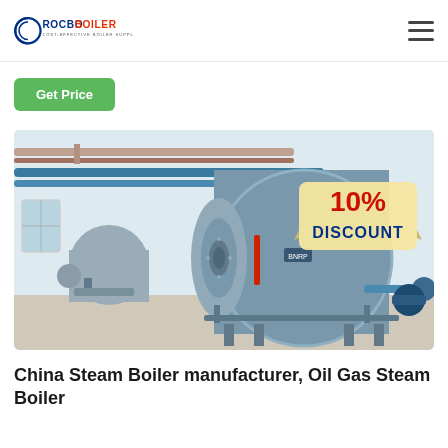ROCBO BOILER — COST-EFFECTIVE BOILER SUPPLIER
Get Price
[Figure (photo): Industrial steam boilers (horizontal fire-tube type, blue/grey) installed in a factory building, with a '10% DISCOUNT' badge overlaid in the upper right corner.]
China Steam Boiler manufacturer, Oil Gas Steam Boiler